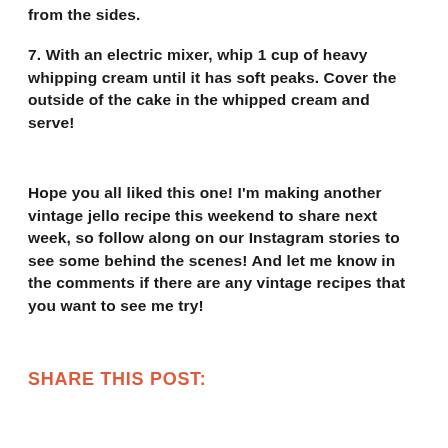from the sides.
7. With an electric mixer, whip 1 cup of heavy whipping cream until it has soft peaks. Cover the outside of the cake in the whipped cream and serve!
Hope you all liked this one! I'm making another vintage jello recipe this weekend to share next week, so follow along on our Instagram stories to see some behind the scenes! And let me know in the comments if there are any vintage recipes that you want to see me try!
SHARE THIS POST: